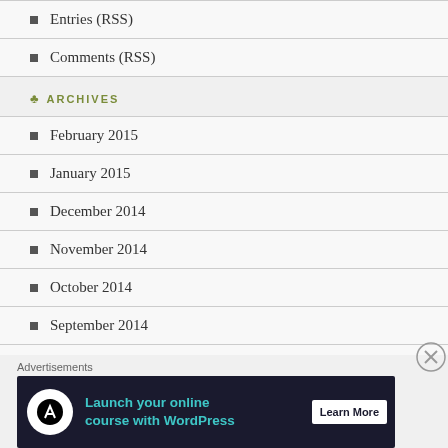Entries (RSS)
Comments (RSS)
ARCHIVES
February 2015
January 2015
December 2014
November 2014
October 2014
September 2014
August 2014
July 2014
Advertisements
[Figure (screenshot): Ad banner: Launch your online course with WordPress - Learn More]